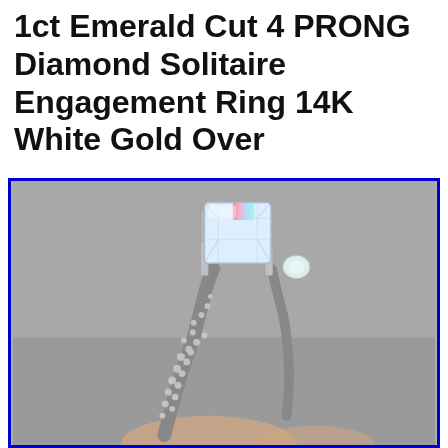1ct Emerald Cut 4 PRONG Diamond Solitaire Engagement Ring 14K White Gold Over
[Figure (photo): Close-up photograph of a diamond solitaire engagement ring with an emerald-cut center stone set in white gold prongs, with a pavé-set diamond band, held between fingers against a grey background.]